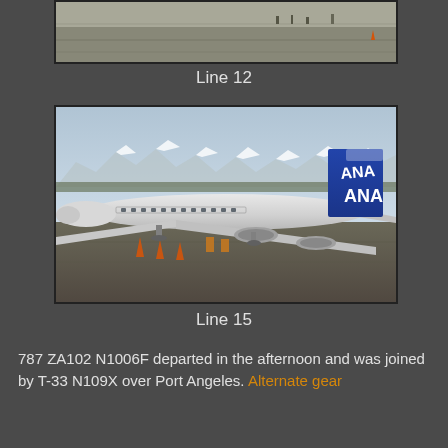[Figure (photo): Partial view of airport tarmac/runway, top portion of page, cropped]
Line 12
[Figure (photo): ANA Boeing 787 (ZA102 N1006F) on ground at airport with snow-capped mountains in background, blue and white livery with ANA tail logo]
Line 15
787 ZA102 N1006F departed in the afternoon and was joined by T-33 N109X over Port Angeles. Alternate gear